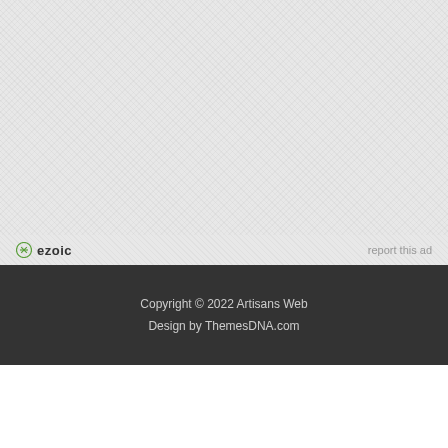[Figure (other): Light gray textured/noise background area filling the upper portion of the page, representing an ad placeholder space]
ezoic   report this ad
Copyright © 2022 Artisans Web
Design by ThemesDNA.com